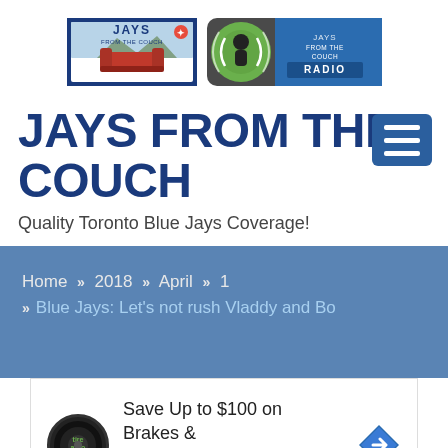[Figure (logo): Jays From The Couch text logo with red couch icon in blue border]
[Figure (logo): Jays From The Couch Radio logo with microphone/radio icon on dark background with blue banner]
JAYS FROM THE COUCH
Quality Toronto Blue Jays Coverage!
Home » 2018 » April » 1 » Blue Jays: Let's not rush Vladdy and Bo
[Figure (infographic): Advertisement: Save Up to $100 on Brakes & Rotors at Virginia Tire & Auto with Tire Auto circular logo and navigation arrow icon]